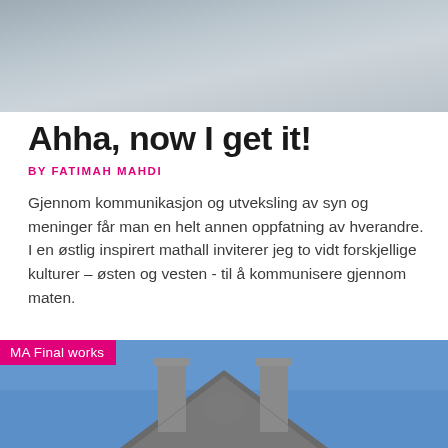[Figure (photo): Top photograph showing a grey overcast sky with gradient cloud tones]
Ahha, now I get it!
BY FATIMAH MAHDI
Gjennom kommunikasjon og utveksling av syn og meninger får man en helt annen oppfatning av hverandre. I en østlig inspirert mathall inviterer jeg to vidt forskjellige kulturer – østen og vesten - til å kommunisere gjennom maten.
[Figure (photo): Bottom photograph showing the rooftop and chimneys of a classical building against a bright blue sky, with a pink 'MA Final works' badge overlay]